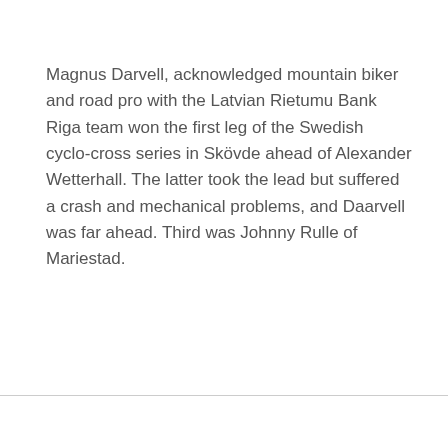Magnus Darvell, acknowledged mountain biker and road pro with the Latvian Rietumu Bank Riga team won the first leg of the Swedish cyclo-cross series in Skövde ahead of Alexander Wetterhall. The latter took the lead but suffered a crash and mechanical problems, and Daarvell was far ahead. Third was Johnny Rulle of Mariestad.